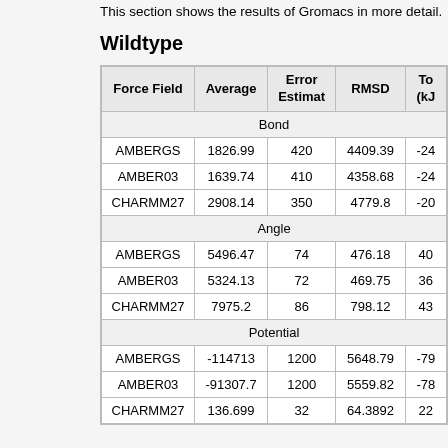This section shows the results of Gromacs in more detail.
Wildtype
| Force Field | Average | Error Estimat | RMSD | To (kJ |
| --- | --- | --- | --- | --- |
| Bond |  |  |  |  |
| AMBERGS | 1826.99 | 420 | 4409.39 | -24 |
| AMBER03 | 1639.74 | 410 | 4358.68 | -24 |
| CHARMM27 | 2908.14 | 350 | 4779.8 | -20 |
| Angle |  |  |  |  |
| AMBERGS | 5496.47 | 74 | 476.18 | 40 |
| AMBER03 | 5324.13 | 72 | 469.75 | 36 |
| CHARMM27 | 7975.2 | 86 | 798.12 | 43 |
| Potential |  |  |  |  |
| AMBERGS | -114713 | 1200 | 5648.79 | -79 |
| AMBER03 | -91307.7 | 1200 | 5559.82 | -78 |
| CHARMM27 | 136.699 | 32 | 64.3892 | 22 |